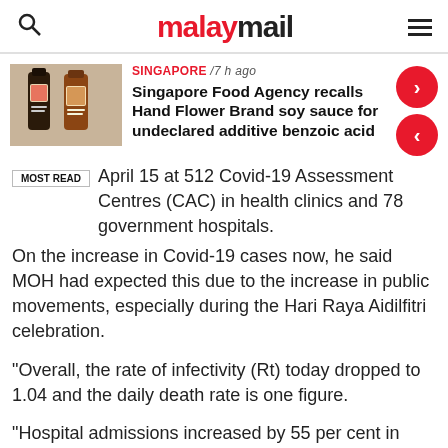malaymail
[Figure (photo): Two bottles of Hand Flower Brand soy sauce]
SINGAPORE / 7 h ago
Singapore Food Agency recalls Hand Flower Brand soy sauce for undeclared additive benzoic acid
April 15 at 512 Covid-19 Assessment Centres (CAC) in health clinics and 78 government hospitals.
On the increase in Covid-19 cases now, he said MOH had expected this due to the increase in public movements, especially during the Hari Raya Aidilfitri celebration.
“Overall, the rate of infectivity (Rt) today dropped to 1.04 and the daily death rate is one figure.
“Hospital admissions increased by 55 per cent in categories one and two involving those with comorbidities. In terms of infection, there is an increase in Covid-19 cases which were reported…